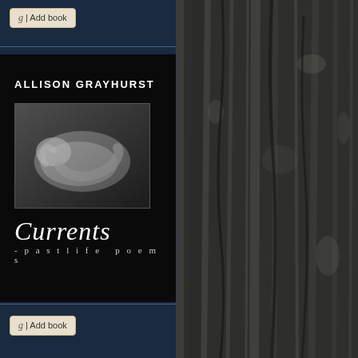[Figure (screenshot): Book listing page showing the cover of 'Currents - pastlife poems' by Allison Grayhurst on a dark navy background, with bark texture on the right side and two 'g | Add book' buttons at top and bottom left.]
g | Add book
ALLISON GRAYHURST
Currents
- pastlife poems
g | Add book